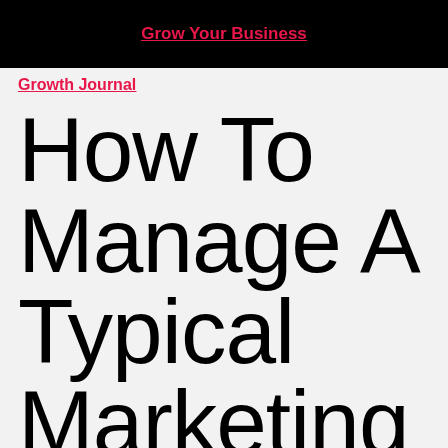Grow Your Business
Growth Journal
How To Manage A Typical Marketing